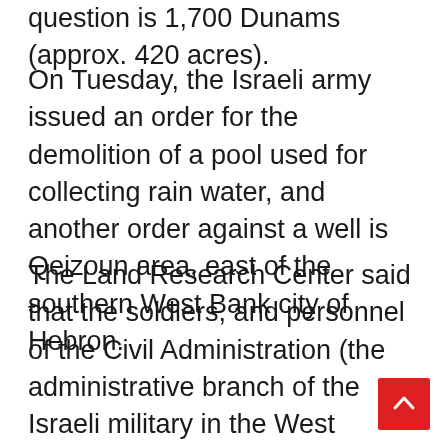question is 1,700 Dunams (approx. 420 acres).
On Tuesday, the Israeli army issued an order for the demolition of a pool used for collecting rain water, and another order against a well is Qeizoun area, east of the southern West Bank city of Hebron.
The Land Research Center said that the soldiers, and personnel of the Civil Administration (the administrative branch of the Israeli military in the West Bank), invaded the area and handed resident Alaa' Mohammad Zalloum an order informing him that the army intends to demolish his 900 square/ meter pool, and also handed resident Obeid Abul-Raziq Zalloum an order targeting his 500 square